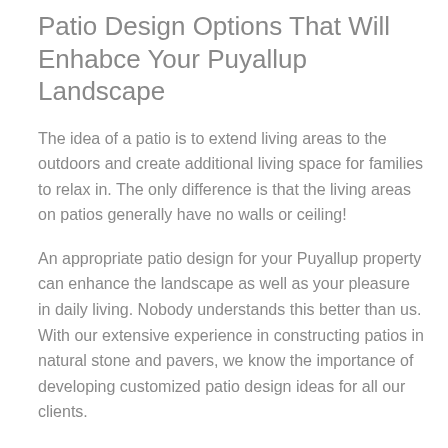Patio Design Options That Will Enhabce Your Puyallup Landscape
The idea of a patio is to extend living areas to the outdoors and create additional living space for families to relax in. The only difference is that the living areas on patios generally have no walls or ceiling!
An appropriate patio design for your Puyallup property can enhance the landscape as well as your pleasure in daily living. Nobody understands this better than us. With our extensive experience in constructing patios in natural stone and pavers, we know the importance of developing customized patio design ideas for all our clients.